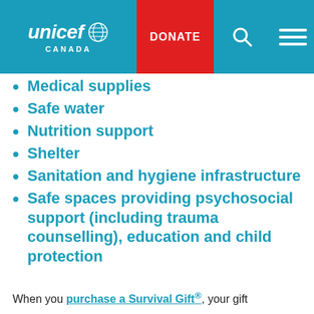[Figure (screenshot): UNICEF Canada navigation bar with logo, red DONATE button, search icon, and hamburger menu icon]
Medical supplies
Safe water
Nutrition support
Shelter
Sanitation and hygiene infrastructure
Safe spaces providing psychosocial support (including trauma counselling), education and child protection
When you purchase a Survival Gift®, your gift